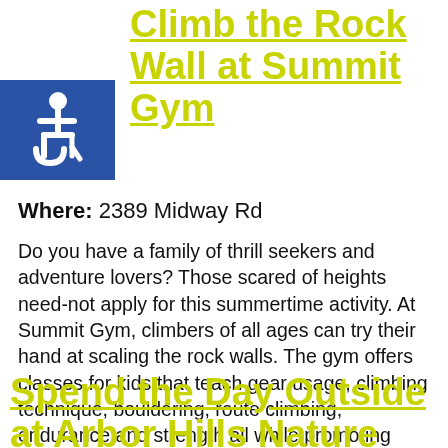Climb the Rock Wall at Summit Gym
[Figure (illustration): Accessibility icon (wheelchair symbol) in white on blue background square]
Where: 2389 Midway Rd
Do you have a family of thrill seekers and adventure lovers? Those scared of heights need-not apply for this summertime activity. At Summit Gym, climbers of all ages can try their hand at scaling the rock walls. The gym offers classes for kids that teach gear usage, climbing technique, bouldering, route climbing, endurance and strength all while promoting teamwork, trust, problem solving, communication and concentration.
Spend the Day Outside at Arbor Hills Nature